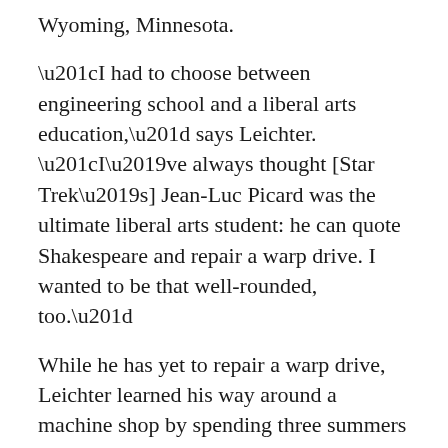Wyoming, Minnesota.
“I had to choose between engineering school and a liberal arts education,” says Leichter. “I’ve always thought [Star Trek’s] Jean-Luc Picard was the ultimate liberal arts student: he can quote Shakespeare and repair a warp drive. I wanted to be that well-rounded, too.”
While he has yet to repair a warp drive, Leichter learned his way around a machine shop by spending three summers working with Carleton physics professor Dwight Luhman and project manager Mark Zach,